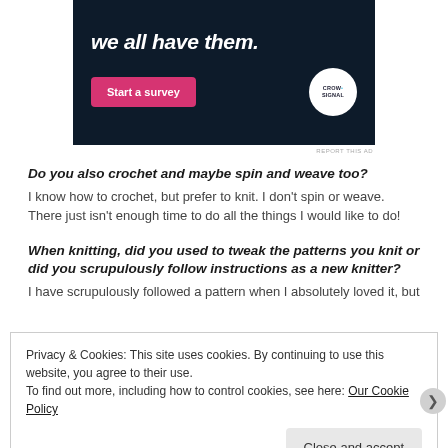[Figure (illustration): Advertisement banner with dark navy background. Text 'we all have them.' in white italic font. A pink 'Start a survey' button on the left and a circular CrowdSignal logo on the right.]
REPORT THIS AD
Do you also crochet and maybe spin and weave too?
I know how to crochet, but prefer to knit. I don't spin or weave. There just isn't enough time to do all the things I would like to do!
When knitting, did you used to tweak the patterns you knit or did you scrupulously follow instructions as a new knitter?
I have scrupulously followed a pattern when I absolutely loved it, but
Privacy & Cookies: This site uses cookies. By continuing to use this website, you agree to their use.
To find out more, including how to control cookies, see here: Our Cookie Policy
Close and accept